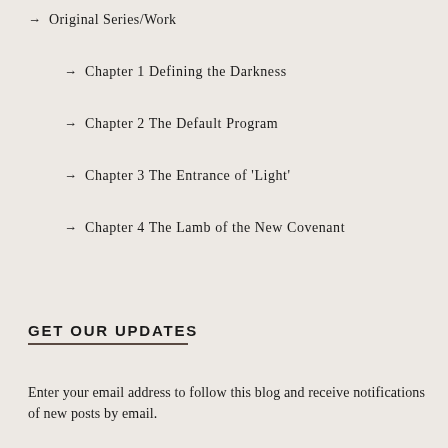→ Original Series/Work
→ Chapter 1 Defining the Darkness
→ Chapter 2 The Default Program
→ Chapter 3 The Entrance of 'Light'
→ Chapter 4 The Lamb of the New Covenant
GET OUR UPDATES
Enter your email address to follow this blog and receive notifications of new posts by email.